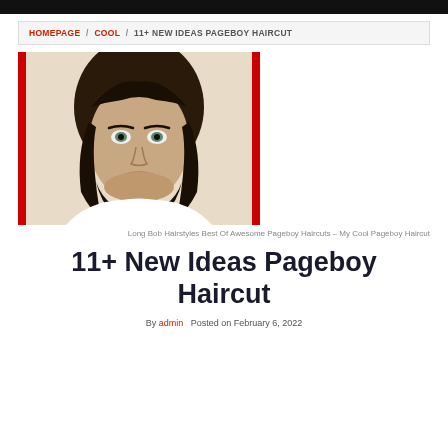HOMEPAGE / COOL / 11+ NEW IDEAS PAGEBOY HAIRCUT
[Figure (photo): Woman with a dark brown pageboy/long bob haircut with bangs, flanked by red vertical bars on left and right]
Long Bob Hairstyles Best Of Awesome Pageboy Haircuts – My Cool Pageboy Haircut
11+ New Ideas Pageboy Haircut
By admin Posted on February 6, 2022